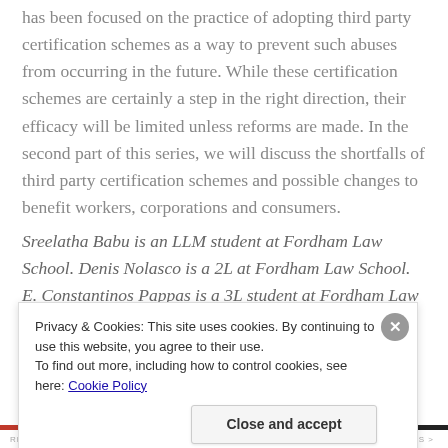has been focused on the practice of adopting third party certification schemes as a way to prevent such abuses from occurring in the future. While these certification schemes are certainly a step in the right direction, their efficacy will be limited unless reforms are made. In the second part of this series, we will discuss the shortfalls of third party certification schemes and possible changes to benefit workers, corporations and consumers.
Sreelatha Babu is an LLM student at Fordham Law School. Denis Nolasco is a 2L at Fordham Law School. E. Constantinos Pappas is a 3L student at Fordham Law School. They all participated in the Spring 2016 Corporate...
Privacy & Cookies: This site uses cookies. By continuing to use this website, you agree to their use.
To find out more, including how to control cookies, see here: Cookie Policy